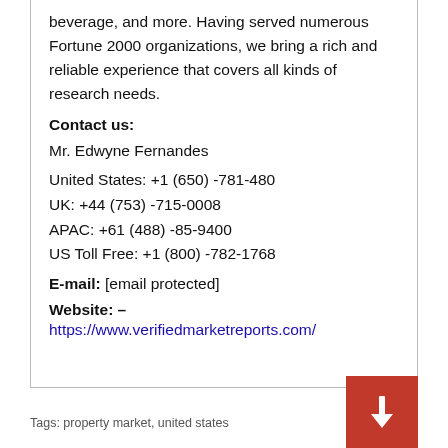beverage, and more. Having served numerous Fortune 2000 organizations, we bring a rich and reliable experience that covers all kinds of research needs.
Contact us:
Mr. Edwyne Fernandes
United States: +1 (650) -781-480
UK: +44 (753) -715-0008
APAC: +61 (488) -85-9400
US Toll Free: +1 (800) -782-1768
E-mail: [email protected]
Website: –
https://www.verifiedmarketreports.com/
Tags: property market, united states